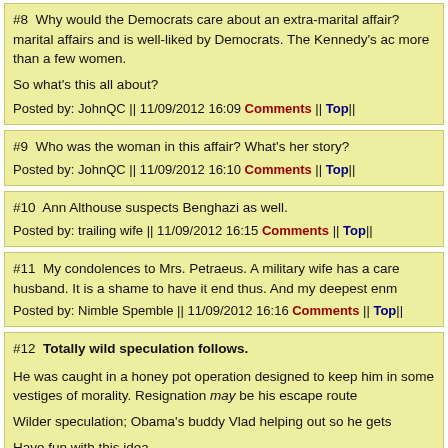#8  Why would the Democrats care about an extra-marital affair? marital affairs and is well-liked by Democrats. The Kennedy's ac more than a few women.

So what's this all about?
Posted by: JohnQC || 11/09/2012 16:09 Comments || Top||
#9  Who was the woman in this affair? What's her story?
Posted by: JohnQC || 11/09/2012 16:10 Comments || Top||
#10  Ann Althouse suspects Benghazi as well.
Posted by: trailing wife || 11/09/2012 16:15 Comments || Top||
#11  My condolences to Mrs. Petraeus. A military wife has a care husband. It is a shame to have it end thus. And my deepest enm
Posted by: Nimble Spemble || 11/09/2012 16:16 Comments || Top||
#12  Totally wild speculation follows.

He was caught in a honey pot operation designed to keep him in some vestiges of morality. Resignation may be his escape route

Wilder speculation; Obama's buddy Vlad helping out so he gets

Have fun with this idea.